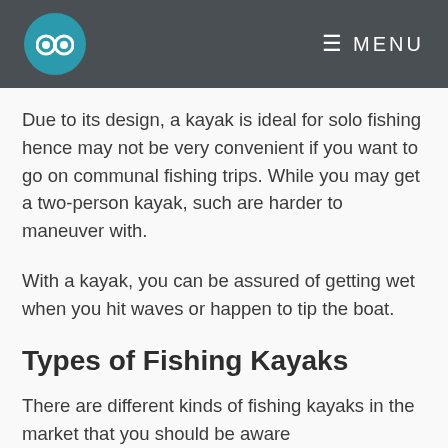MENU
Due to its design, a kayak is ideal for solo fishing hence may not be very convenient if you want to go on communal fishing trips. While you may get a two-person kayak, such are harder to maneuver with.
With a kayak, you can be assured of getting wet when you hit waves or happen to tip the boat.
Types of Fishing Kayaks
There are different kinds of fishing kayaks in the market that you should be aware